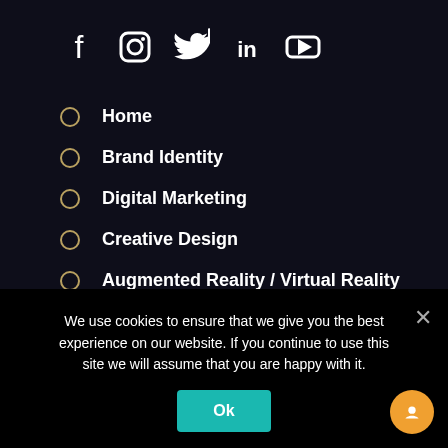[Figure (infographic): Social media icons row: Facebook, Instagram, Twitter, LinkedIn, YouTube — white icons on dark background]
Home
Brand Identity
Digital Marketing
Creative Design
Augmented Reality / Virtual Reality
2D / 3D / Animation videos
We use cookies to ensure that we give you the best experience on our website. If you continue to use this site we will assume that you are happy with it.